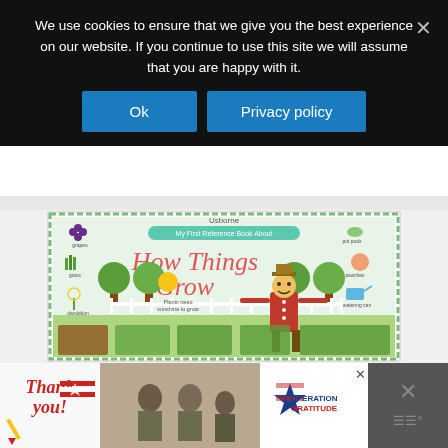We use cookies to ensure that we give you the best experience on our website. If you continue to use this site we will assume that you are happy with it.
Ok
Privacy policy
[Figure (photo): Book cover: Usborne My First Reference Book About How Things Grow. Features colorful illustrations of plants, vegetables, a scarecrow, garden, grapes, grass, dandelion, pot pods, peaches, watering can, fruit trees, and garden beds.]
[Figure (photo): Advertisement banner for Operation Gratitude featuring 'Thank you!' text with American flag motif, military personnel photo, and Operation Gratitude logo]